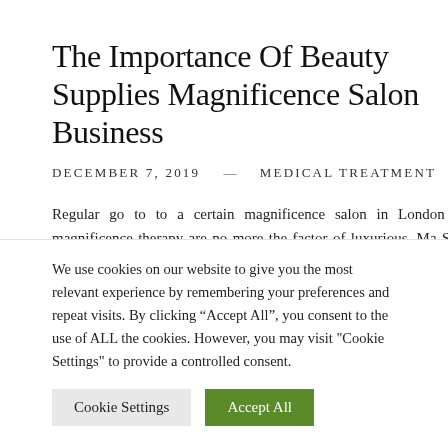The Importance Of Beauty Supplies Magnificence Salon Business
DECEMBER 7, 2019  —  MEDICAL TREATMENT
Regular go to to a certain magnificence salon in London for magnificence therapy are no more the factor of luxurious. Ma Shay Mitchell and Bella Thorne have been related to Biora
We use cookies on our website to give you the most relevant experience by remembering your preferences and repeat visits. By clicking “Accept All”, you consent to the use of ALL the cookies. However, you may visit "Cookie Settings" to provide a controlled consent.